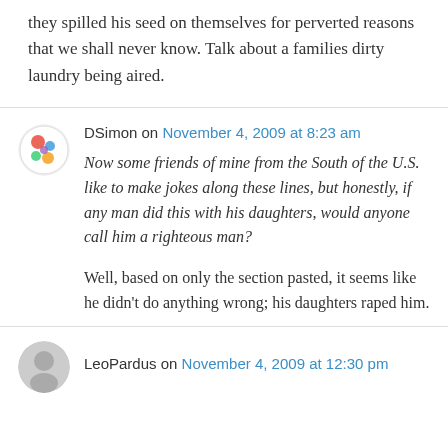they spilled his seed on themselves for perverted reasons that we shall never know. Talk about a families dirty laundry being aired.
DSimon on November 4, 2009 at 8:23 am
Now some friends of mine from the South of the U.S. like to make jokes along these lines, but honestly, if any man did this with his daughters, would anyone call him a righteous man?
Well, based on only the section pasted, it seems like he didn't do anything wrong; his daughters raped him.
LeoPardus on November 4, 2009 at 12:30 pm